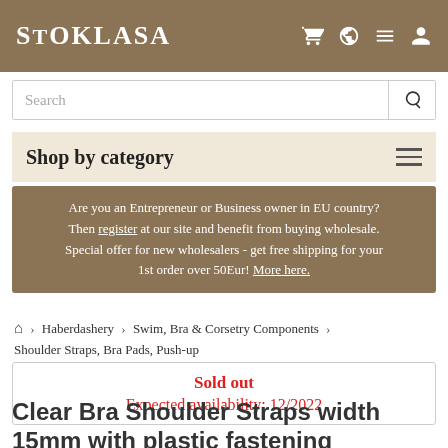STOKLASA
Search
Shop by category
Are you an Entrepreneur or Business owner in EU country? Then register at our site and benefit from buying wholesale. Special offer for new wholesalers - get free shipping for your 1st order over 50Eur! More here.
Home > Haberdashery > Swim, Bra & Corsetry Components > Shoulder Straps, Bra Pads, Push-up
Sold out
Expected availability: 12/2022
Clear Bra Shoulder Straps width 15mm with plastic fastening